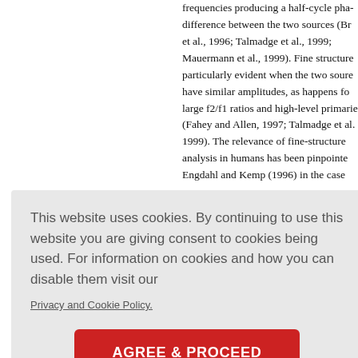frequencies producing a half-cycle phase difference between the two sources (Br et al., 1996; Talmadge et al., 1999; Mauermann et al., 1999). Fine structure particularly evident when the two sour have similar amplitudes, as happens fo large f2/f1 ratios and high-level primarie (Fahey and Allen, 1997; Talmadge et al 1999). The relevance of fine-structure analysis in humans has been pinpointe Engdahl and Kemp (1996) in the case places ba... DPOAE rimaries a ar interact over a br ane. t al. (1987 r pressure licited by 8 ) support
This website uses cookies. By continuing to use this website you are giving consent to cookies being used. For information on cookies and how you can disable them visit our
Privacy and Cookie Policy.
AGREE & PROCEED